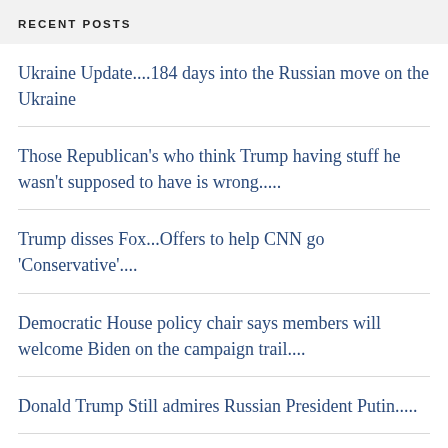RECENT POSTS
Ukraine Update....184 days into the Russian move on the Ukraine
Those Republican's who think Trump having stuff he wasn't supposed to have is wrong.....
Trump disses Fox...Offers to help CNN go 'Conservative'....
Democratic House policy chair says members will welcome Biden on the campaign trail....
Donald Trump Still admires Russian President Putin.....
...